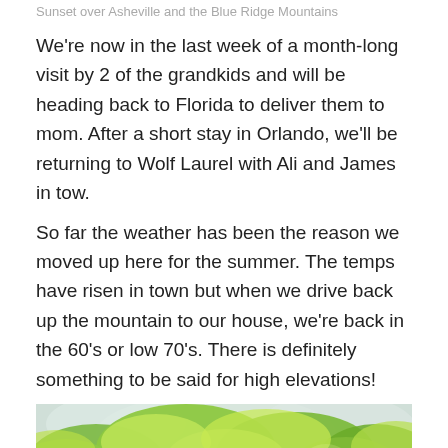Sunset over Asheville and the Blue Ridge Mountains
We're now in the last week of a month-long visit by 2 of the grandkids and will be heading back to Florida to deliver them to mom. After a short stay in Orlando, we'll be returning to Wolf Laurel with Ali and James in tow.
So far the weather has been the reason we moved up here for the summer. The temps have risen in town but when we drive back up the mountain to our house, we're back in the 60's or low 70's. There is definitely something to be said for high elevations!
[Figure (photo): Photo of tall trees with bright green spring foliage against a light sky, viewed from below looking up through a forest.]